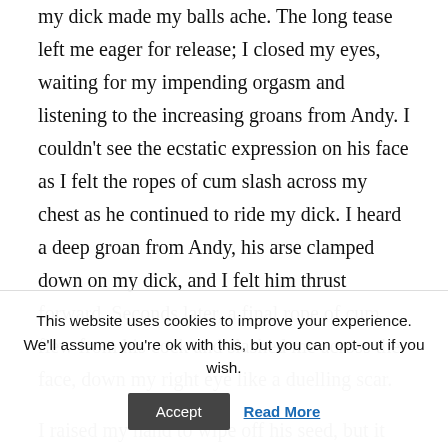my dick made my balls ache. The long tease left me eager for release; I closed my eyes, waiting for my impending orgasm and listening to the increasing groans from Andy. I couldn't see the ecstatic expression on his face as I felt the ropes of cum slash across my chest as he continued to ride my dick. I heard a deep groan from Andy, his arse clamped down on my dick, and I felt him thrust forward. Seconds later, a final rope of cum flew from his cock and slashed me across the face, down my right eye like a duelling scar.
I raised my hand to wipe off his seed, but it never
This website uses cookies to improve your experience. We'll assume you're ok with this, but you can opt-out if you wish.
Accept
Read More